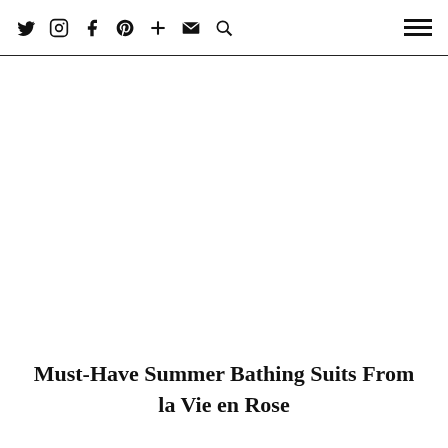social icons navigation bar with twitter, instagram, facebook, pinterest, plus, mail, search icons and hamburger menu
Must-Have Summer Bathing Suits From la Vie en Rose